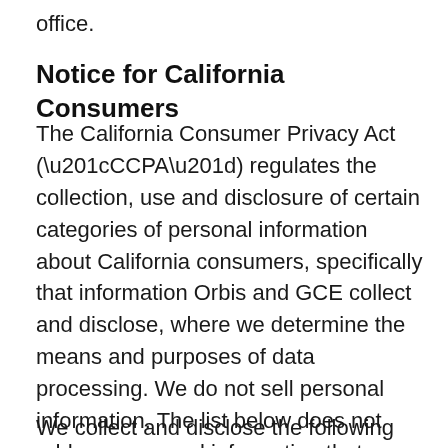office.
Notice for California Consumers
The California Consumer Privacy Act (“CCPA”) regulates the collection, use and disclosure of certain categories of personal information about California consumers, specifically that information Orbis and GCE collect and disclose, where we determine the means and purposes of data processing. We do not sell personal information. The list below does not address personal information that we collect and process at the direction of a Partner as part of the application process and student experience.
We collect and disclose the following categories